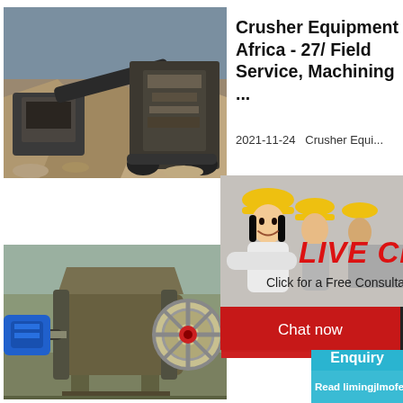[Figure (photo): Mining crusher equipment at a quarry site with large machinery and rock piles in background]
Crusher Equipment Africa - 27/ Field Service, Machining ...
2021-11-24   Crusher Equi...
[Figure (photo): Live chat popup overlay showing workers in yellow hard hats with LIVE CHAT text, Click for a Free Consultation subtitle, Chat now and Chat later buttons, and a crusher machine image with hour online, Click me to chat>>, Enquiry, and Read limingjlmofen labels]
[Figure (photo): Jaw crusher machine with blue motor on outdoor ground]
Crushe Manufa Africa-
Osborn is...